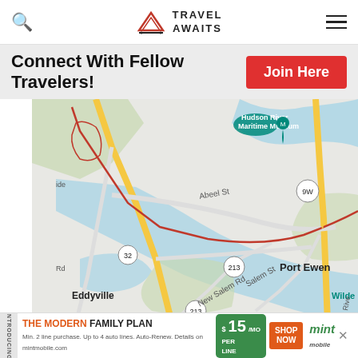Travel Awaits
Connect With Fellow Travelers!
[Figure (map): Google Maps view showing Hudson River Maritime Museum, Port Ewen, Eddyville area with roads 32, 213, 9W and landmarks including Abeel St, New Salem Rd, Salem St, Wilder and river features.]
[Figure (infographic): Advertisement banner: INTRODUCING THE MODERN FAMILY PLAN from $15/MO PER LINE SHOP NOW - Mint Mobile]